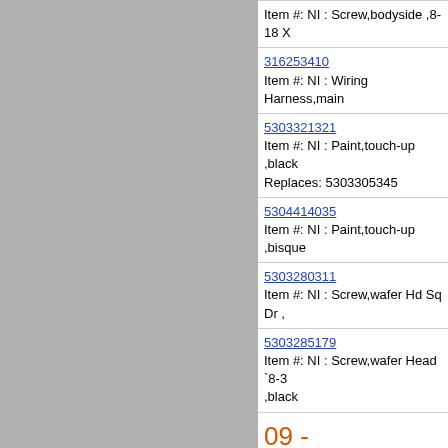Item #: NI : Screw,bodyside ,8-18 X
316253410
Item #: NI : Wiring Harness,main
5303321321
Item #: NI : Paint,touch-up ,black
Replaces: 5303305345
5304414035
Item #: NI : Paint,touch-up ,bisque
5303280311
Item #: NI : Screw,wafer Hd Sq Dr ,
5303285179
Item #: NI : Screw,wafer Head `8-32 ,black
09 - Top/drawer
[Figure (engineering-diagram): TOP/DRAWER engineering parts diagram showing components labeled 20, 22C, 22C, 18. Publication No. 5995339994, TOF363A header.]